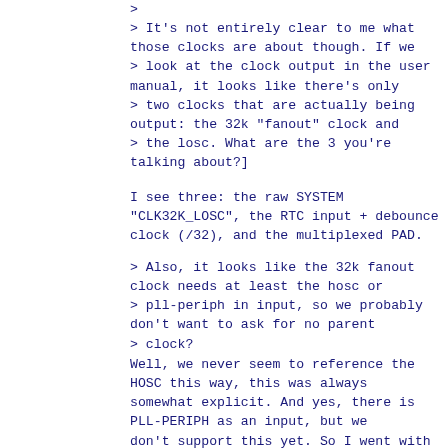>
> It's not entirely clear to me what those clocks are about though. If we
> look at the clock output in the user manual, it looks like there's only
> two clocks that are actually being output: the 32k "fanout" clock and
> the losc. What are the 3 you're talking about?]
I see three: the raw SYSTEM "CLK32K_LOSC", the RTC input + debounce clock (/32), and the multiplexed PAD.
> Also, it looks like the 32k fanout clock needs at least the hosc or
> pll-periph in input, so we probably don't want to ask for no parent
> clock?
Well, we never seem to reference the HOSC this way, this was always somewhat explicit. And yes, there is PLL-PERIPH as an input, but we don't support this yet. So I went with 0 input clocks *for now*: the driver can then ignore all clocks, so any clock referenced in the DT later won't cause any harm. This will all be addressed by Samuel's RTC